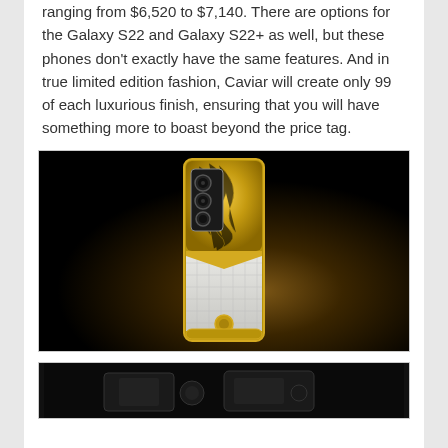ranging from $6,520 to $7,140. There are options for the Galaxy S22 and Galaxy S22+ as well, but these phones don't exactly have the same features. And in true limited edition fashion, Caviar will create only 99 of each luxurious finish, ensuring that you will have something more to boast beyond the price tag.
[Figure (photo): Back of a luxury smartphone with gold engraved top panel featuring ornate floral pattern and white crocodile leather lower panel, set against a dark background with warm spotlight.]
[Figure (photo): Dark image showing what appears to be luxury phone accessories or cases against a black background.]